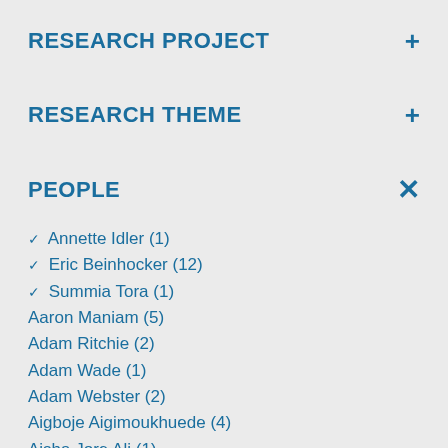RESEARCH PROJECT +
RESEARCH THEME +
PEOPLE ×
✓ Annette Idler (1)
✓ Eric Beinhocker (12)
✓ Summia Tora (1)
Aaron Maniam (5)
Adam Ritchie (2)
Adam Wade (1)
Adam Webster (2)
Aigboje Aigimoukhuede (4)
Aisha Jore Ali (1)
Anandi Mani (14)